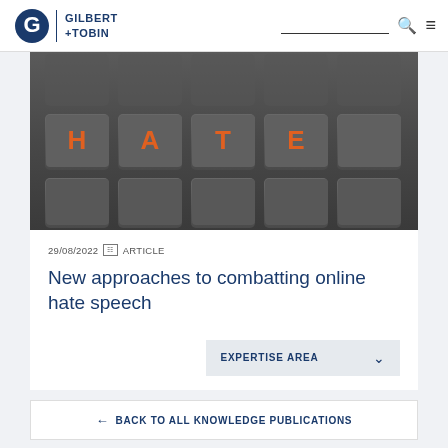Gilbert + Tobin
[Figure (photo): Close-up of a dark grey keyboard with the letters H, A, T, E highlighted in orange on individual keys.]
29/08/2022 ARTICLE
New approaches to combatting online hate speech
EXPERTISE AREA
← BACK TO ALL KNOWLEDGE PUBLICATIONS